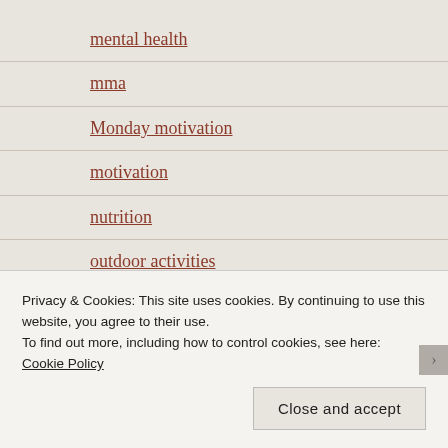mental health
mma
Monday motivation
motivation
nutrition
outdoor activities
personal trainer
personal training
photography
Privacy & Cookies: This site uses cookies. By continuing to use this website, you agree to their use.
To find out more, including how to control cookies, see here: Cookie Policy
Close and accept